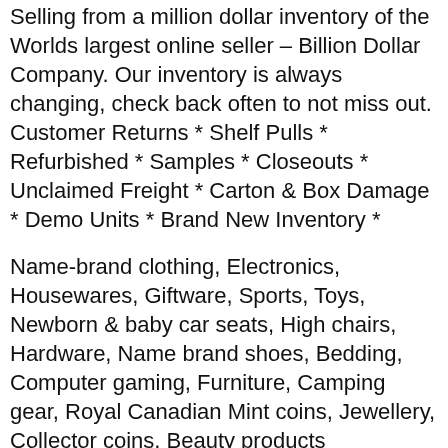Selling from a million dollar inventory of the Worlds largest online seller – Billion Dollar Company. Our inventory is always changing, check back often to not miss out. Customer Returns * Shelf Pulls * Refurbished * Samples * Closeouts * Unclaimed Freight * Carton & Box Damage * Demo Units * Brand New Inventory *
Name-brand clothing, Electronics, Housewares, Giftware, Sports, Toys, Newborn & baby car seats, High chairs, Hardware, Name brand shoes, Bedding, Computer gaming, Furniture, Camping gear, Royal Canadian Mint coins, Jewellery, Collector coins, Beauty products
Royal Canadian Mint Product, Canadian Coins, Canadian Paper Money, US and World Paper Money, Numismatic Supplies, Reference Books, World Gold and Silver Coins, Collector Coins, Stamp Collections, Silver and Gold Bullion, Tokens, Medals, World Mint Sets, Original Mint Rolls, Ancient Coins, Royal, Perth, Franklin and